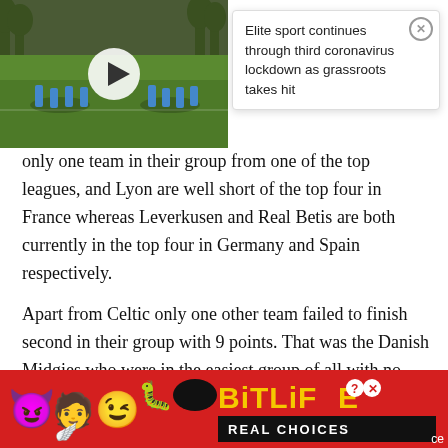[Figure (screenshot): Video thumbnail showing soccer/football players training on a grass pitch with trees in background, overlaid with a white circular play button]
Elite sport continues through third coronavirus lockdown as grassroots takes hit
only one team in their group from one of the top leagues, and Lyon are well short of the top four in France whereas Leverkusen and Real Betis are both currently in the top four in Germany and Spain respectively.
Apart from Celtic only one other team failed to finish second in their group with 9 points. That was the Danish Midgies who were in the easiest group of all with no team from one of the top leagues.  ×
[Figure (screenshot): BitLife mobile game advertisement banner with emoji characters on red background, BitLife logo in yellow, and REAL CHOICES text]